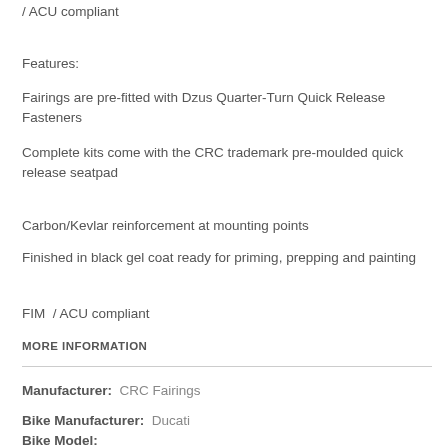/ ACU compliant
Features:
Fairings are pre-fitted with Dzus Quarter-Turn Quick Release Fasteners
Complete kits come with the CRC trademark pre-moulded quick release seatpad
Carbon/Kevlar reinforcement at mounting points
Finished in black gel coat ready for priming, prepping and painting
FIM  / ACU compliant
MORE INFORMATION
Manufacturer:  CRC Fairings
Bike Manufacturer:  Ducati
Bike Model: